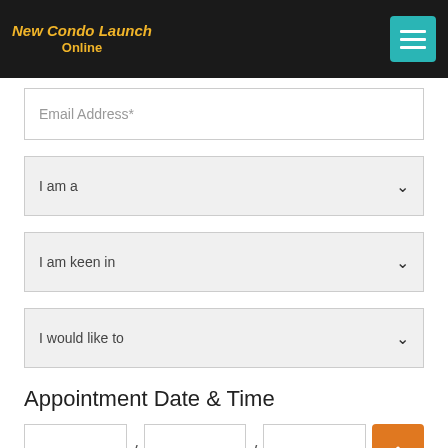New Condo Launch Online
Email Address*
I am a
I am keen in
I would like to
Appointment Date & Time
DD / MM / YYYY